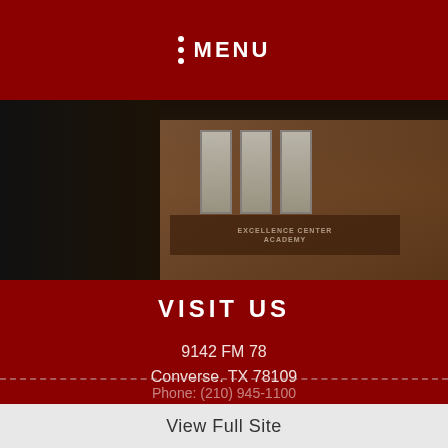MENU
[Figure (photo): Exterior photo of a brick school building with large windows, taken at dusk or low light conditions. The building facade shows brick construction with tall windows visible.]
VISIT US
9142 FM 78
Converse, TX 78109
Map It
CONTACT US
Phone: (210) 945-1100
View Full Site